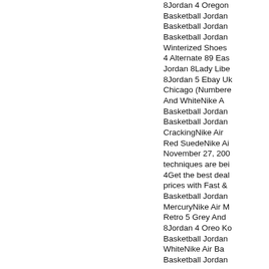8Jordan 4 Oregon Basketball Jordan Basketball Jordan Basketball Jordan Winterized Shoes 4 Alternate 89 Eas Jordan 8Lady Libe 8Jordan 5 Ebay Uk Chicago (Numbere And WhiteNike A Basketball Jordan Basketball Jordan CrackingNike Air Red SuedeNike Ai November 27, 200 techniques are bei 4Get the best deal prices with Fast & Basketball Jordan MercuryNike Air Retro 5 Grey And 8Jordan 4 Oreo Ko Basketball Jordan WhiteNike Air Ba Basketball Jordan